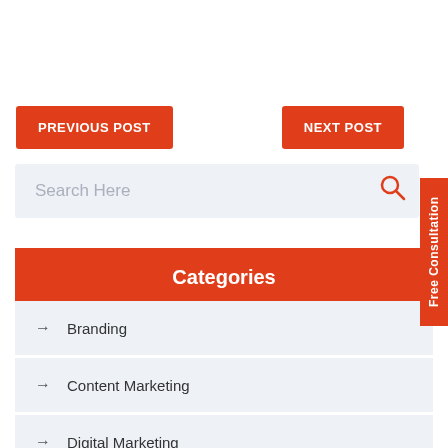PREVIOUS POST
NEXT POST
Search Here
Categories
→ Branding
→ Content Marketing
→ Digital Marketing
→ E-mail Marketing
Free Consultation